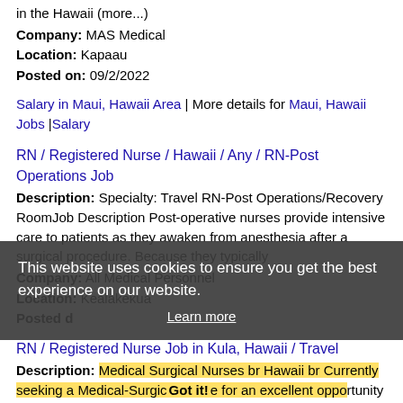in the Hawaii (more...)
Company: MAS Medical
Location: Kapaau
Posted on: 09/2/2022
Salary in Maui, Hawaii Area | More details for Maui, Hawaii Jobs |Salary
RN / Registered Nurse / Hawaii / Any / RN-Post Operations Job
Description: Specialty: Travel RN-Post Operations/Recovery RoomJob Description Post-operative nurses provide intensive care to patients as they awaken from anesthesia after a surgical procedure. Because they typically
Company: All Medical Personnel
Location: Kealakekua
Posted d the best experience on our website.
This website uses cookies to ensure you get the best experience on our website.
Learn more
RN / Registered Nurse Job in Kula, Hawaii / Travel
Description: Medical Surgical Nurses br Hawaii br Currently seeking a Medical-Surgical Nurse for an excellent opportunity in the Hawaii area. The ideal candidate will possess 1 year of med surg experience. This (more...)
Company: MAS Medical